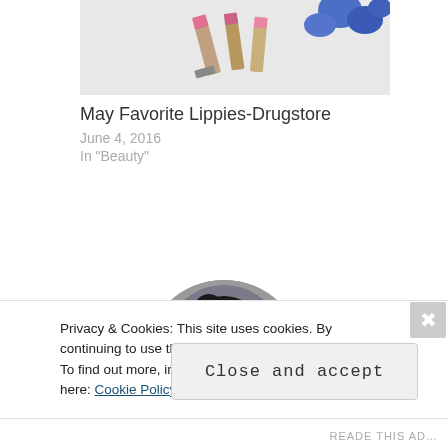[Figure (photo): Thumbnail photo of lipstick cosmetics with blue flowers on a white background]
May Favorite Lippies-Drugstore
June 4, 2016
In “Beauty”
[Figure (photo): Circular profile photo of a young woman with dark hair holding blue flowers near her face]
Privacy & Cookies: This site uses cookies. By continuing to use this website, you agree to their use.
To find out more, including how to control cookies, see here: Cookie Policy
Close and accept